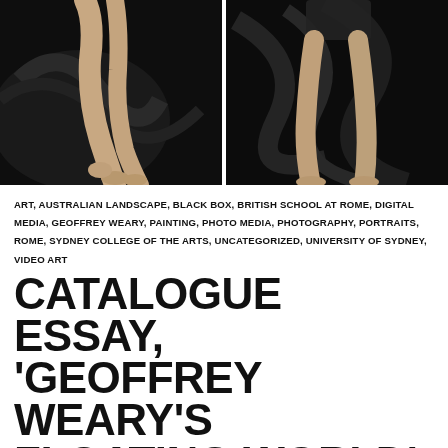[Figure (photo): Two black-and-white photographs side by side showing a person's legs/lower body against a dark abstract painted background. Left photo shows legs from above crouching, right photo shows legs from a different angle.]
ART, AUSTRALIAN LANDSCAPE, BLACK BOX, BRITISH SCHOOL AT ROME, DIGITAL MEDIA, GEOFFREY WEARY, PAINTING, PHOTO MEDIA, PHOTOGRAPHY, PORTRAITS, ROME, SYDNEY COLLEGE OF THE ARTS, UNCATEGORIZED, UNIVERSITY OF SYDNEY, VIDEO ART
CATALOGUE ESSAY, 'GEOFFREY WEARY'S FLOATING WORLD', ACADEMICI, ROMA, 2005
7  STRANGE CITIES PRODUCTIONS  LEAVE A COMMENT